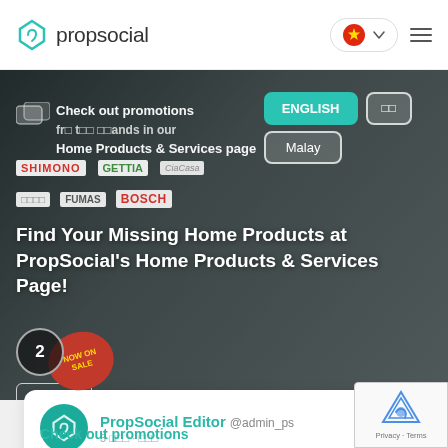propsocial
[Figure (screenshot): PropSocial website banner showing home products promotion with language switcher (ENGLISH, Chinese, Malay) and brand logos (SHIMONO, GETTIA, BOSCH)]
Find Your Missing Home Products at PropSocial's Home Products & Services Page!
General
PropSocial Editor @admin_ps
3 日前 · 阅读
Check out promotions